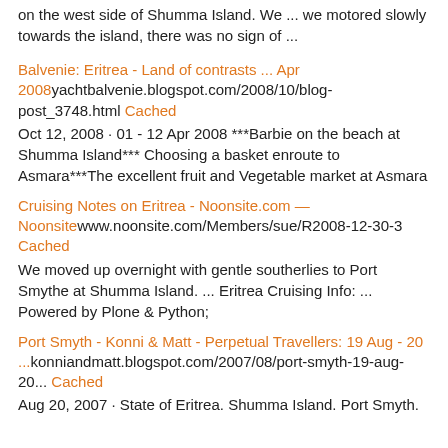on the west side of Shumma Island. We ... we motored slowly towards the island, there was no sign of ...
Balvenie: Eritrea - Land of contrasts ... Apr 2008 yachtbalvenie.blogspot.com/2008/10/blog-post_3748.html Cached
Oct 12, 2008 · 01 - 12 Apr 2008 ***Barbie on the beach at Shumma Island*** Choosing a basket enroute to Asmara***The excellent fruit and Vegetable market at Asmara
Cruising Notes on Eritrea - Noonsite.com — Noonsite www.noonsite.com/Members/sue/R2008-12-30-3 Cached
We moved up overnight with gentle southerlies to Port Smythe at Shumma Island. ... Eritrea Cruising Info: ... Powered by Plone & Python;
Port Smyth - Konni & Matt - Perpetual Travellers: 19 Aug - 20 ...konniandmatt.blogspot.com/2007/08/port-smyth-19-aug-20... Cached
Aug 20, 2007 · State of Eritrea. Shumma Island. Port Smyth.